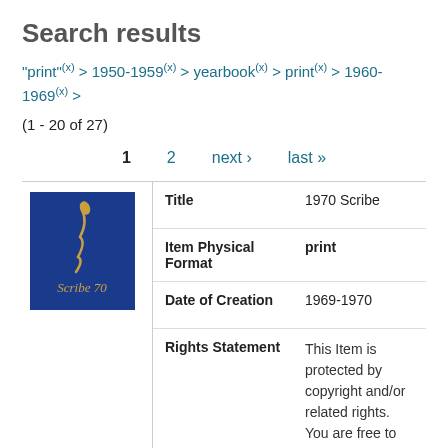Search results
"print" (x) > 1950-1959 (x) > yearbook (x) > print (x) > 1960-1969 (x) >
(1 - 20 of 27)
1  2  next ›  last »
| Field | Value |
| --- | --- |
| Title | 1970 Scribe |
| Item Physical Format | print |
| Date of Creation | 1969-1970 |
| Rights Statement | This Item is protected by copyright and/or related rights. You are free to use this Item in any way that is permitted by the copyright and related rights legislation that applies to your |